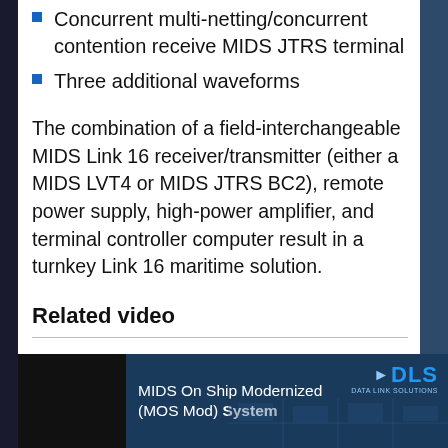Concurrent multi-netting/concurrent contention receive MIDS JTRS terminal
Three additional waveforms
The combination of a field-interchangeable MIDS Link 16 receiver/transmitter (either a MIDS LVT4 or MIDS JTRS BC2), remote power supply, high-power amplifier, and terminal controller computer result in a turnkey Link 16 maritime solution.
Related video
[Figure (screenshot): Video thumbnail showing 'MIDS On Ship Modernized (MOS Mod) System' with DLS Data Link Solutions logo and naval ship imagery]